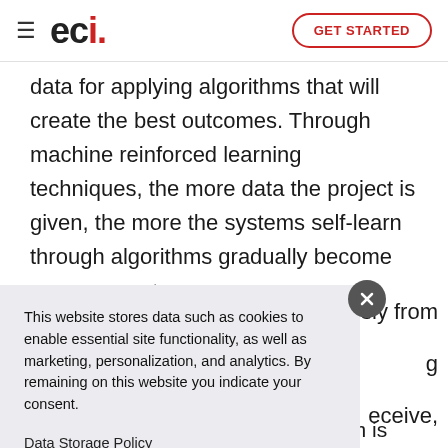eci. GET STARTED
data for applying algorithms that will create the best outcomes. Through machine reinforced learning techniques, the more data the project is given, the more the systems self-learn through algorithms gradually become more accurate.
This website stores data such as cookies to enable essential site functionality, as well as marketing, personalization, and analytics. By remaining on this website you indicate your consent.
Data Storage Policy
plain the impact of data on automation, which is